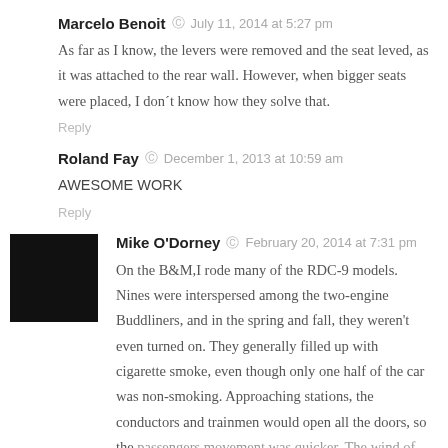Marcelo Benoit  ©  July 11, 2014 at 5:27 pm
As far as I know, the levers were removed and the seat leved, as it was attached to the rear wall. However, when bigger seats were placed, I don´t know how they solve that.
Reply
Roland Fay  ©  December 1, 2013 at 10:59 am
AWESOME WORK
Reply
Mike O'Dorney  ©  February 20, 2014 at 7:31 pm
On the B&M,I rode many of the RDC-9 models. Nines were interspersed among the two-engine Buddliners, and in the spring and fall, they weren't even turned on. They generally filled up with cigarette smoke, even though only one half of the car was non-smoking. Approaching stations, the conductors and trainmen would open all the doors, so the passengers movement was quicker. The wind of the train...